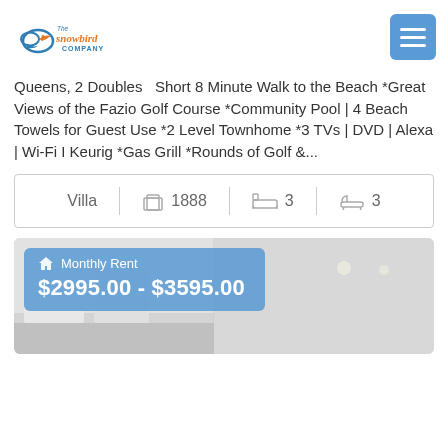The Snowbird Company
Queens, 2 Doubles  Short 8 Minute Walk to the Beach *Great Views of the Fazio Golf Course *Community Pool | 4 Beach Towels for Guest Use *2 Level Townhome *3 TVs | DVD | Alexa | Wi-Fi I Keurig *Gas Grill *Rounds of Golf &...
| Type | Size | Bedrooms | Bathrooms |
| --- | --- | --- | --- |
| Villa | 1888 | 3 | 3 |
Monthly Rent
$2995.00 - $3595.00